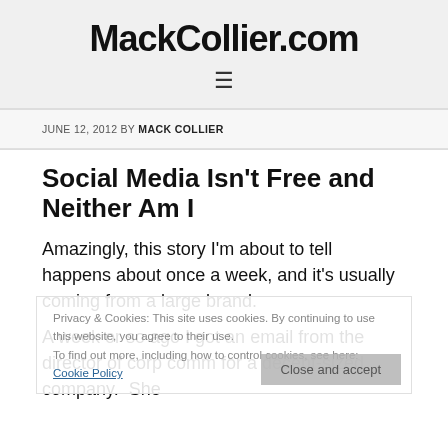MackCollier.com
JUNE 12, 2012 BY MACK COLLIER
Social Media Isn't Free and Neither Am I
Privacy & Cookies: This site uses cookies. By continuing to use this website, you agree to their use. To find out more, including how to control cookies, see here: Cookie Policy
Close and accept
Amazingly, this story I'm about to tell happens about once a week, and it's usually coming from a large brand.
A week or so ago I got an email from the director of corp comm for a decent-sized company.  She